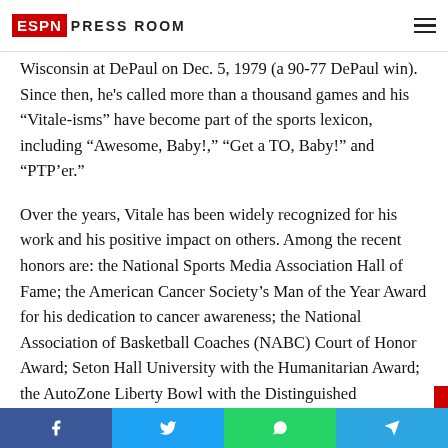ESPN Press Room
Wisconsin at DePaul on Dec. 5, 1979 (a 90-77 DePaul win). Since then, he's called more than a thousand games and his “Vitale-isms” have become part of the sports lexicon, including “Awesome, Baby!” “Get a TO, Baby!” and “PTP’er.”
Over the years, Vitale has been widely recognized for his work and his positive impact on others. Among the recent honors are: the National Sports Media Association Hall of Fame; the American Cancer Society’s Man of the Year Award for his dedication to cancer awareness; the National Association of Basketball Coaches (NABC) Court of Honor Award; Seton Hall University with the Humanitarian Award; the AutoZone Liberty Bowl with the Distinguished